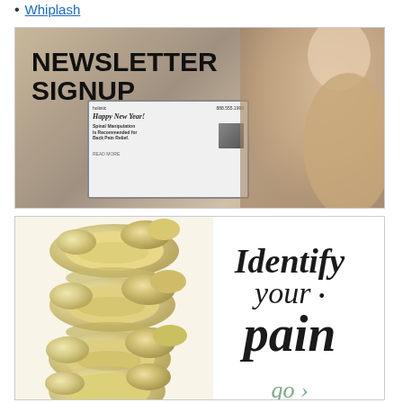Whiplash
[Figure (photo): Newsletter signup promotional image showing a woman using a laptop at an outdoor cafe table with a coffee cup. Bold text reads NEWSLETTER SIGNUP. The laptop screen shows a newsletter with Happy New Year headline and an article about Spinal Manipulation.]
[Figure (illustration): Identify your pain promotional image. Left side shows a 3D rendering of vertebrae/spine segments in yellowish bone color. Right side shows italic text reading 'Identify your pain' with a 'go >' link in teal/green color.]